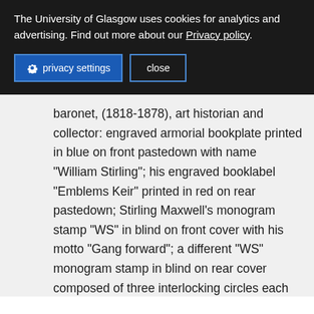The University of Glasgow uses cookies for analytics and advertising. Find out more about our Privacy policy.
privacy settings  close
baronet, (1818-1878), art historian and collector: engraved armorial bookplate printed in blue on front pastedown with name “William Stirling”; his engraved booklabel “Emblems Keir” printed in red on rear pastedown; Stirling Maxwell’s monogram stamp “WS” in blind on front cover with his motto “Gang forward”; a different “WS” monogram stamp in blind on rear cover composed of three interlocking circles each containing a motto - “Chi dura vince”, “Poco a poco” and “Gang forward” - all enclosed within